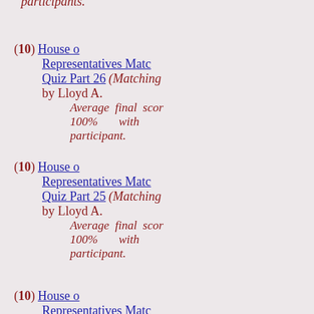participants.
(10) House of Representatives Matching Quiz Part 26 (Matching) by Lloyd A. Average final score 100% with participant.
(10) House of Representatives Matching Quiz Part 25 (Matching) by Lloyd A. Average final score 100% with participant.
(10) House of Representatives Matching Quiz Part 24 (Matching) by Lloyd A. Average final score 100% with participant.